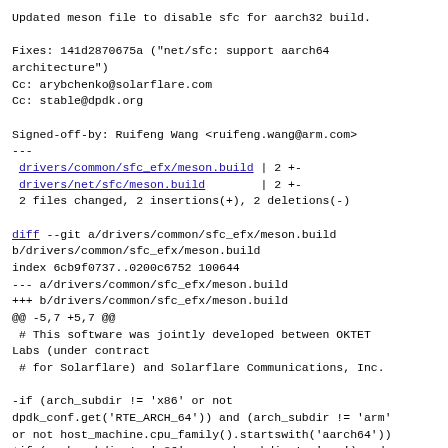Updated meson file to disable sfc for aarch32 build.
Fixes: 141d2870675a ("net/sfc: support aarch64 architecture")
Cc: arybchenko@solarflare.com
Cc: stable@dpdk.org
Signed-off-by: Ruifeng Wang <ruifeng.wang@arm.com>
---
 drivers/common/sfc_efx/meson.build | 2 +-
 drivers/net/sfc/meson.build        | 2 +-
 2 files changed, 2 insertions(+), 2 deletions(-)
diff --git a/drivers/common/sfc_efx/meson.build b/drivers/common/sfc_efx/meson.build
index 6cb9f0737..0200c6752 100644
--- a/drivers/common/sfc_efx/meson.build
+++ b/drivers/common/sfc_efx/meson.build
@@ -5,7 +5,7 @@
 # This software was jointly developed between OKTET Labs (under contract
 # for Solarflare) and Solarflare Communications, Inc.

-if (arch_subdir != 'x86' or not dpdk_conf.get('RTE_ARCH_64')) and (arch_subdir != 'arm' or not host_machine.cpu_family().startswith('aarch64'))
+if (arch_subdir != 'x86' or arch_subdir != 'arm') and (not dpdk_conf.get('RTE_ARCH_64'))
        build = false